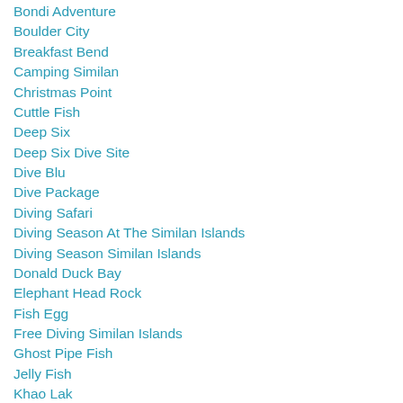Bondi Adventure
Boulder City
Breakfast Bend
Camping Similan
Christmas Point
Cuttle Fish
Deep Six
Deep Six Dive Site
Dive Blu
Dive Package
Diving Safari
Diving Season At The Similan Islands
Diving Season Similan Islands
Donald Duck Bay
Elephant Head Rock
Fish Egg
Free Diving Similan Islands
Ghost Pipe Fish
Jelly Fish
Khao Lak
Khao Lak Dive Center